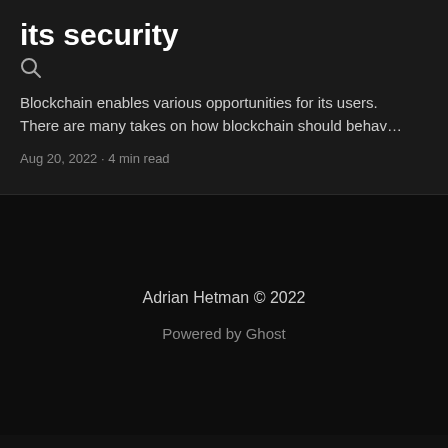its security
[Figure (other): Search magnifying glass icon]
Blockchain enables various opportunities for its users. There are many takes on how blockchain should behav…
Aug 20, 2022 · 4 min read
Adrian Hetman © 2022
Powered by Ghost